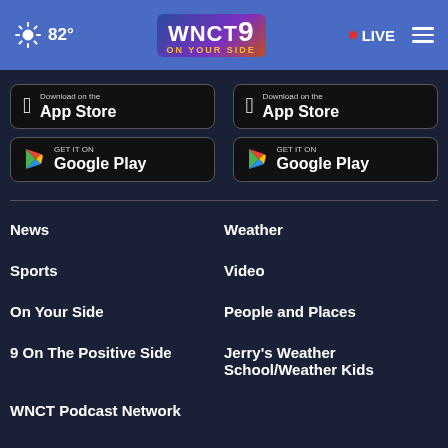82° WNCT9 ON YOUR SIDE • LIVE
[Figure (screenshot): Download on the App Store button (left column)]
[Figure (screenshot): GET IT ON Google Play button (left column)]
[Figure (screenshot): Download on the App Store button (right column)]
[Figure (screenshot): GET IT ON Google Play button (right column)]
News
Weather
Sports
Video
On Your Side
People and Places
9 On The Positive Side
Jerry's Weather School/Weather Kids
WNCT Podcast Network